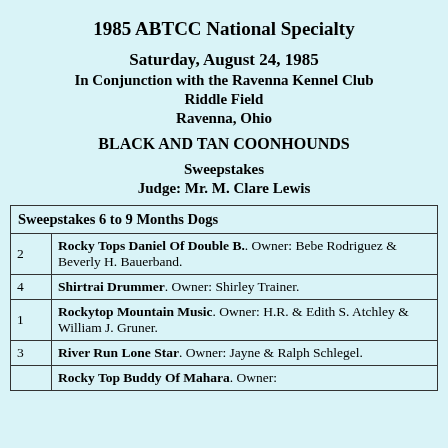1985 ABTCC National Specialty
Saturday, August 24, 1985
In Conjunction with the Ravenna Kennel Club
Riddle Field
Ravenna, Ohio
BLACK AND TAN COONHOUNDS
Sweepstakes
Judge: Mr. M. Clare Lewis
| Sweepstakes 6 to 9 Months Dogs |
| --- |
| 2 | Rocky Tops Daniel Of Double B.. Owner: Bebe Rodriguez & Beverly H. Bauerband. |
| 4 | Shirtrai Drummer. Owner: Shirley Trainer. |
| 1 | Rockytop Mountain Music. Owner: H.R. & Edith S. Atchley & William J. Gruner. |
| 3 | River Run Lone Star. Owner: Jayne & Ralph Schlegel. |
|  | Rocky Top Buddy Of Mahara. Owner: |